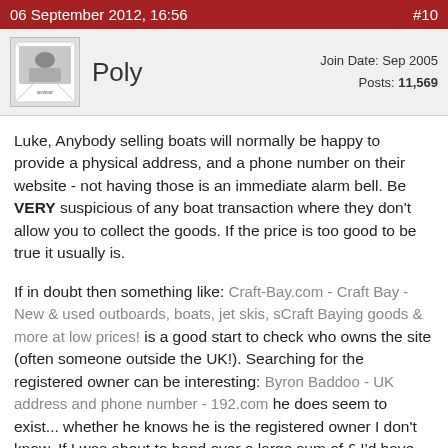06 September 2012, 16:56  #10
Poly  Join Date: Sep 2005  Posts: 11,569
Luke, Anybody selling boats will normally be happy to provide a physical address, and a phone number on their website - not having those is an immediate alarm bell. Be VERY suspicious of any boat transaction where they don't allow you to collect the goods. If the price is too good to be true it usually is.
If in doubt then something like: Craft-Bay.com - Craft Bay - New & used outboards, boats, jet skis, sCraft Baying goods & more at low prices! is a good start to check who owns the site (often someone outside the UK!). Searching for the registered owner can be interesting: Byron Baddoo - UK address and phone number - 192.com he does seem to exist... whether he knows he is the registered owner I don't know. If I was about to hand over a large sum of £ I'd have been tempted to give him a ring first.
At least you found out before you got scammed!